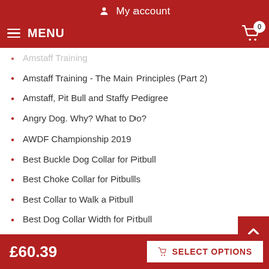My account
MENU  0
Amstaff Training (partially visible)
Amstaff Training - The Main Principles (Part 2)
Amstaff, Pit Bull and Staffy Pedigree
Angry Dog. Why? What to Do?
AWDF Championship 2019
Best Buckle Dog Collar for Pitbull
Best Choke Collar for Pitbulls
Best Collar to Walk a Pitbull
Best Dog Collar Width for Pitbull
Best Pitbull Training Collar
Bull Terrier: How Should a Purebred Bull Terrier Look Like (partially visible)
£60.39  SELECT OPTIONS